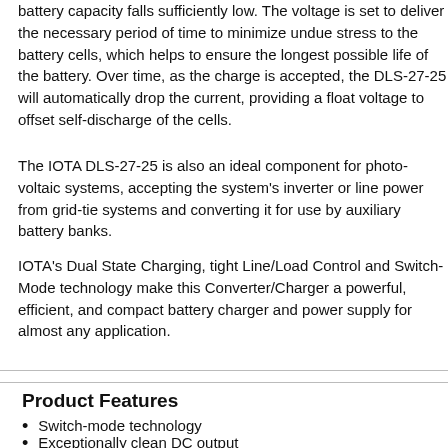battery capacity falls sufficiently low. The voltage is set to deliver the necessary period of time to minimize undue stress to the battery cells, which helps to ensure the longest possible life of the battery. Over time, as the charge is accepted, the DLS-27-25 will automatically drop the current, providing a float voltage to offset self-discharge of the cells.
The IOTA DLS-27-25 is also an ideal component for photo-voltaic systems, accepting the system's inverter or line power from grid-tie systems and converting it for use by auxiliary battery banks.
IOTA's Dual State Charging, tight Line/Load Control and Switch-Mode technology make this Converter/Charger a powerful, efficient, and compact battery charger and power supply for almost any application.
Product Features
Switch-mode technology
Exceptionally clean DC output
Tight line-load regulation